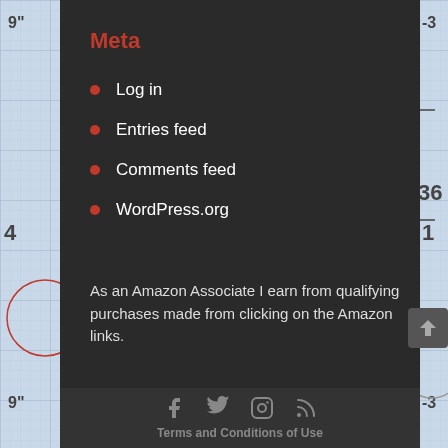Meta
Log in
Entries feed
Comments feed
WordPress.org
As an Amazon Associate I earn from qualifying purchases made from clicking on the Amazon links.
Terms and Conditions of Use